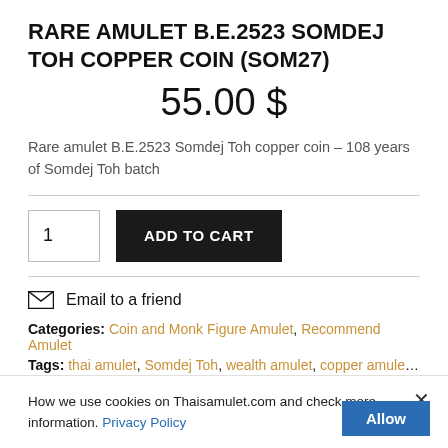RARE AMULET B.E.2523 SOMDEJ TOH COPPER COIN (SOM27)
55.00 $
Rare amulet B.E.2523 Somdej Toh copper coin – 108 years of Somdej Toh batch
1  ADD TO CART
Email to a friend
Categories: Coin and Monk Figure Amulet, Recommend Amulet
Tags: thai amulet, Somdej Toh, wealth amulet, copper amulet, wealth
How we use cookies on Thaisamulet.com and check more information. Privacy Policy